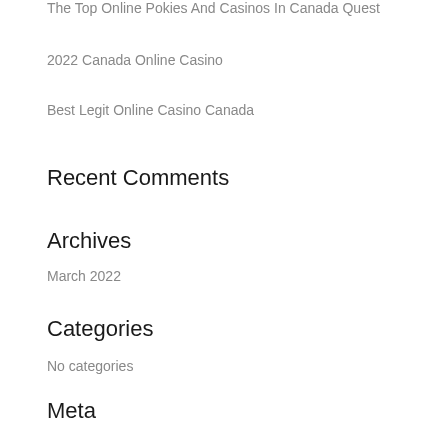The Top Online Pokies And Casinos In Canada Quest
2022 Canada Online Casino
Best Legit Online Casino Canada
Recent Comments
Archives
March 2022
Categories
No categories
Meta
Log in
Entries feed
Comments feed